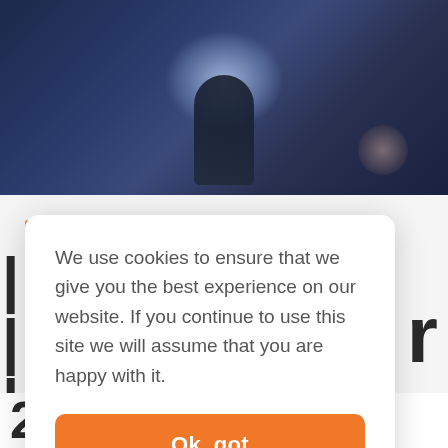[Figure (photo): Dark atmospheric hero image showing a silhouetted figure with a bright glowing light source behind them, blue-dark tones with a circular orb element in the lower right]
We use cookies to ensure that we give you the best experience on our website. If you continue to use this site we will assume that you are happy with it.
Ok, got
2022 Part 2